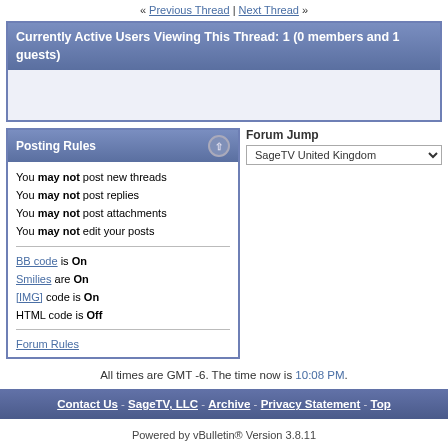« Previous Thread | Next Thread »
Currently Active Users Viewing This Thread: 1 (0 members and 1 guests)
Posting Rules
You may not post new threads
You may not post replies
You may not post attachments
You may not edit your posts
BB code is On
Smilies are On
[IMG] code is On
HTML code is Off
Forum Rules
Forum Jump
SageTV United Kingdom
All times are GMT -6. The time now is 10:08 PM.
Contact Us - SageTV, LLC - Archive - Privacy Statement - Top
Powered by vBulletin® Version 3.8.11
Copyright ©2000 - 2022, vBulletin Solutions Inc.
Copyright 2003-2005 SageTV, LLC. All rights reserved.